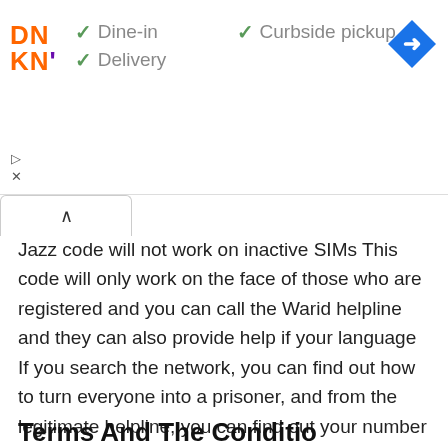[Figure (screenshot): Dunkin' Donuts advertisement banner showing logo and service options: Dine-in, Curbside pickup, Delivery with checkmarks, and a navigation icon]
Jazz code will not work on inactive SIMs This code will only work on the face of those who are registered and you can call the Warid helpline and they can also provide help if your language If you search the network, you can find out how to turn everyone into a prisoner, and from the legitimate helpline, you can find out your number and ask them about your details. Are on the legitimate helpline.
Terms And The Conditio...